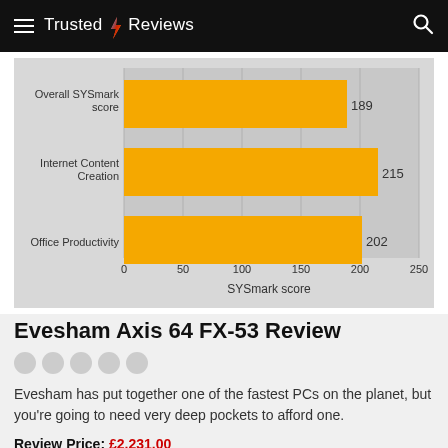Trusted Reviews
[Figure (bar-chart): ]
Evesham Axis 64 FX-53 Review
Evesham has put together one of the fastest PCs on the planet, but you're going to need very deep pockets to afford one.
Review Price: £2,231.00